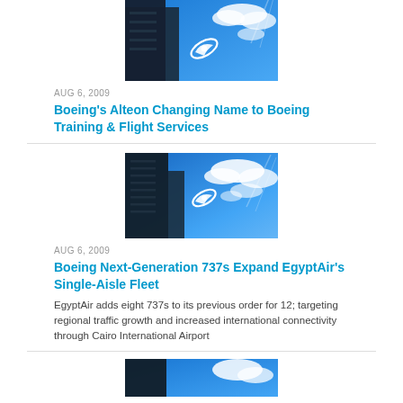[Figure (photo): Boeing logo building against blue sky with clouds (cropped top)]
AUG 6, 2009
Boeing's Alteon Changing Name to Boeing Training & Flight Services
[Figure (photo): Boeing logo building against blue sky with clouds]
AUG 6, 2009
Boeing Next-Generation 737s Expand EgyptAir's Single-Aisle Fleet
EgyptAir adds eight 737s to its previous order for 12; targeting regional traffic growth and increased international connectivity through Cairo International Airport
[Figure (photo): Boeing logo building against blue sky with clouds (partial, bottom of page)]